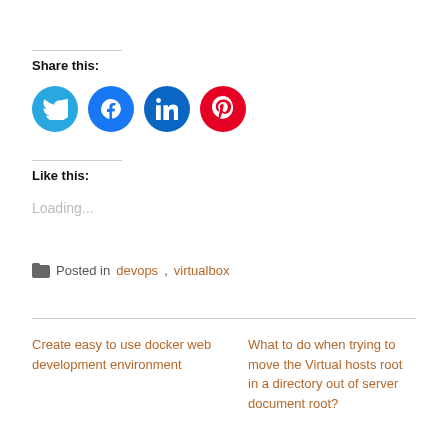Share this:
[Figure (illustration): Four social media share buttons: Twitter (light blue), Facebook (blue), LinkedIn (dark blue), Pinterest (red)]
Like this:
Loading...
Posted in devops, virtualbox
Create easy to use docker web development environment
What to do when trying to move the Virtual hosts root in a directory out of server document root?